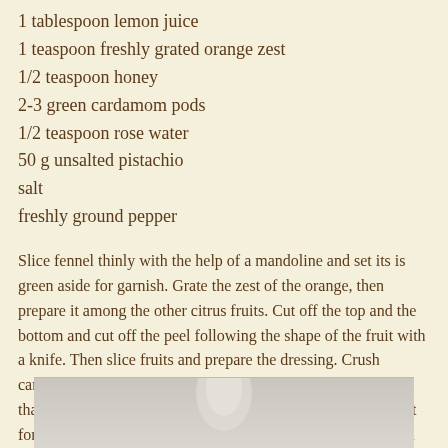1 tablespoon lemon juice
1 teaspoon freshly grated orange zest
1/2 teaspoon honey
2-3 green cardamom pods
1/2 teaspoon rose water
50 g unsalted pistachio
salt
freshly ground pepper
Slice fennel thinly with the help of a mandoline and set its is green aside for garnish. Grate the zest of the orange, then prepare it among the other citrus fruits. Cut off the top and the bottom and cut off the peel following the shape of the fruit with a knife. Then slice fruits and prepare the dressing. Crush cardamom and ground seeds in a mortar, if you want to skip that, just use ground cardamom, about 1/8 teaspoon. Just don't forget, less is more! Mix dressing with fennel and put a bunch on top of the fruit, sprinkle the rest of it over the sliced ruit. Season with salt and pepper, and serve with coarsly chopped pistachio.
[Figure (photo): A partial photo of a dish or ingredient, visible at the bottom of the page, showing light gray/beige tones.]